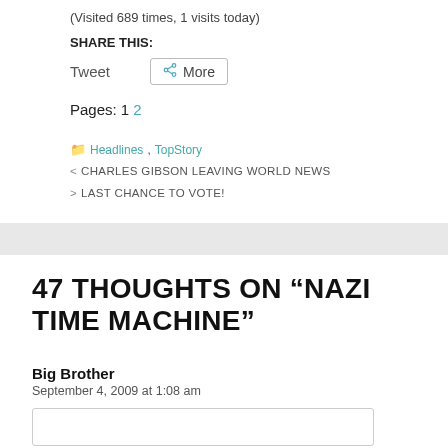(Visited 689 times, 1 visits today)
SHARE THIS:
Tweet   More
Pages: 1 2
Headlines, TopStory
CHARLES GIBSON LEAVING WORLD NEWS
LAST CHANCE TO VOTE!
47 THOUGHTS ON “NAZI TIME MACHINE”
Big Brother
September 4, 2009 at 1:08 am